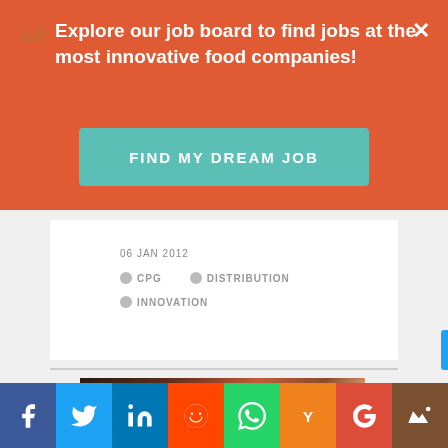Explore our job board to find jobs at the most innovative food companies!
FIND MY DREAM JOB
06 JAN 2012
CPG
DISTRIBUTION
INNOVATION
[Figure (photo): Hands cutting meat/food with a knife on a cutting board, close-up food photography]
Facebook | Twitter | LinkedIn | Reddit | WhatsApp | YCombinator | Google+ | Crown